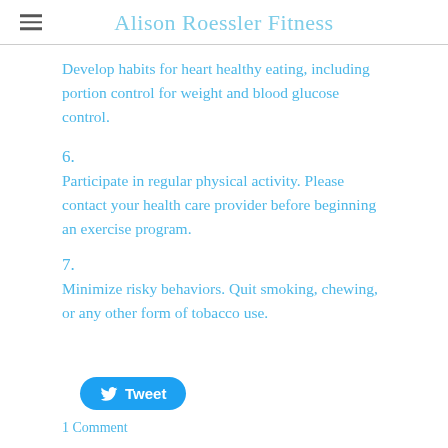Alison Roessler Fitness
Develop habits for heart healthy eating, including portion control for weight and blood glucose control.
6.
Participate in regular physical activity. Please contact your health care provider before beginning an exercise program.
7.
Minimize risky behaviors. Quit smoking, chewing, or any other form of tobacco use.
[Figure (screenshot): Tweet button with Twitter bird icon]
1 Comment